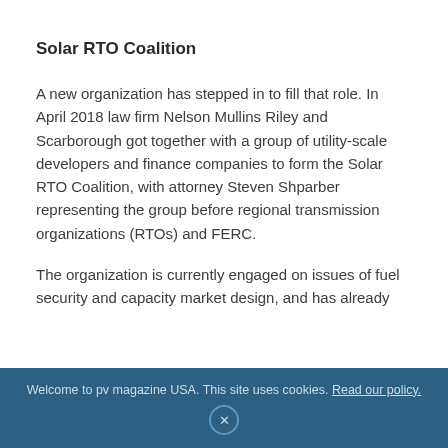Solar RTO Coalition
A new organization has stepped in to fill that role. In April 2018 law firm Nelson Mullins Riley and Scarborough got together with a group of utility-scale developers and finance companies to form the Solar RTO Coalition, with attorney Steven Shparber representing the group before regional transmission organizations (RTOs) and FERC.
The organization is currently engaged on issues of fuel security and capacity market design, and has already
Welcome to pv magazine USA. This site uses cookies. Read our policy.